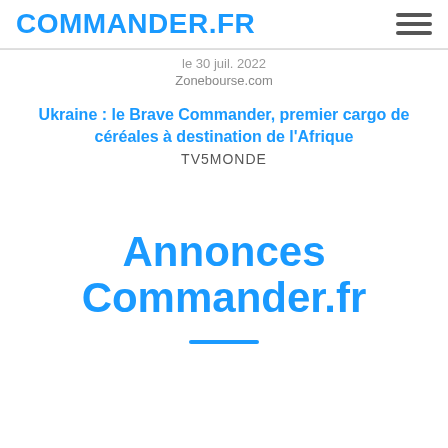COMMANDER.FR
Zonebourse.com
Ukraine : le Brave Commander, premier cargo de céréales à destination de l'Afrique
TV5MONDE
Annonces Commander.fr